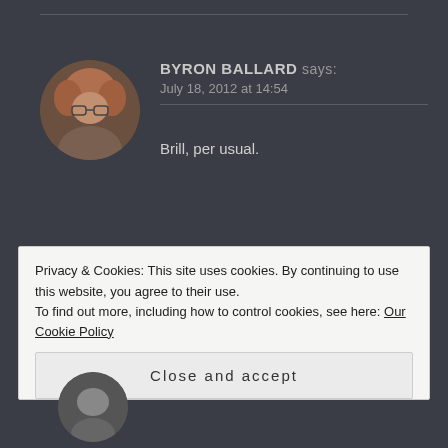BYRON BALLARD says:
July 18, 2012 at 14:54
Brill, per usual.
KATELAITY says:
July 18, 2012 at 15:10
Privacy & Cookies: This site uses cookies. By continuing to use this website, you agree to their use.
To find out more, including how to control cookies, see here: Our Cookie Policy
Close and accept